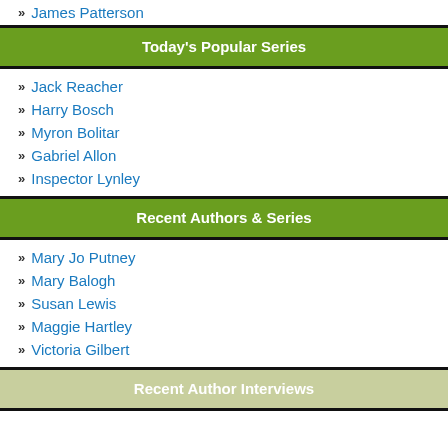James Patterson
Today's Popular Series
Jack Reacher
Harry Bosch
Myron Bolitar
Gabriel Allon
Inspector Lynley
Recent Authors & Series
Mary Jo Putney
Mary Balogh
Susan Lewis
Maggie Hartley
Victoria Gilbert
Recent Author Interviews